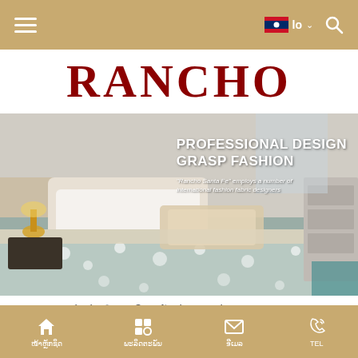Navigation bar with hamburger menu, Lao flag language selector (lo), and search icon
[Figure (logo): RANCHO brand logo in dark red serif font on white background]
[Figure (photo): Bedroom scene with floral patterned bedding set in grey/beige tones. Overlay text reads: PROFESSIONAL DESIGN GRASP FASHION. 'Rancho Santa Fe' employs a number of international fashion fabric designers]
ໜ້າ ຫຼ້າ ຊົດ>ພະລິດຕະພັນ>ຕ້ານກ່ານ>ຕ້ານກ່ານທຸກແລ່ວ
Bottom navigation bar with: ໜ້າຫຼັກຊິດ | ພະລິດຕະພັນ | ອີເມລ | TEL